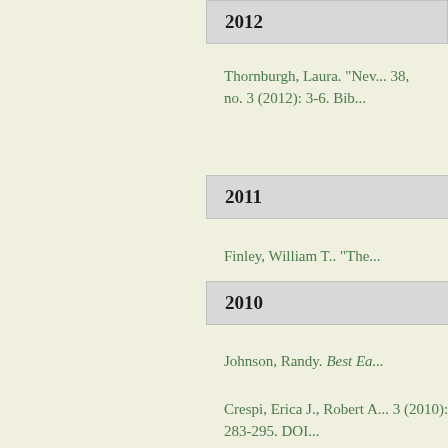2012
Thornburgh, Laura. "Nev... 38, no. 3 (2012): 3-6. Bib...
2011
Finley, William T.. "The...
2010
Johnson, Randy. Best Ea...
Crespi, Erica J., Robert A... 3 (2010): 283-295. DOI...
2007
Crowe, Kevin. "On the M...
2006